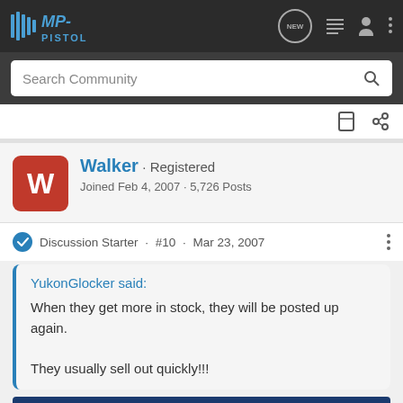MP-PISTOL
Search Community
Walker · Registered
Joined Feb 4, 2007 · 5,726 Posts
Discussion Starter · #10 · Mar 23, 2007
YukonGlocker said:
When they get more in stock, they will be posted up again.

They usually sell out quickly!!!
[Figure (other): Kel-Tec CP33 pistol advertisement banner: SEEKING LONG RANGE RELATIONSHIP, THE CP33 PISTOL, Buy Now button]